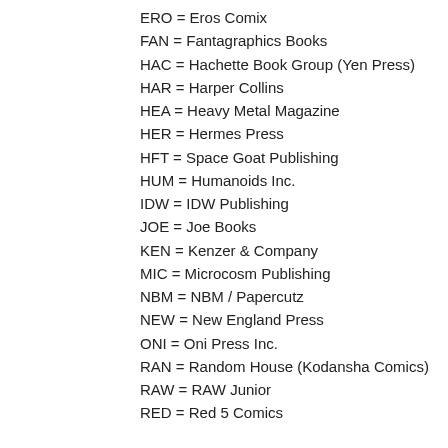ERO = Eros Comix
FAN = Fantagraphics Books
HAC = Hachette Book Group (Yen Press)
HAR = Harper Collins
HEA = Heavy Metal Magazine
HER = Hermes Press
HFT = Space Goat Publishing
HUM = Humanoids Inc.
IDW = IDW Publishing
JOE = Joe Books
KEN = Kenzer & Company
MIC = Microcosm Publishing
NBM = NBM / Papercutz
NEW = New England Press
ONI = Oni Press Inc.
RAN = Random House (Kodansha Comics)
RAW = RAW Junior
RED = Red 5 Comics